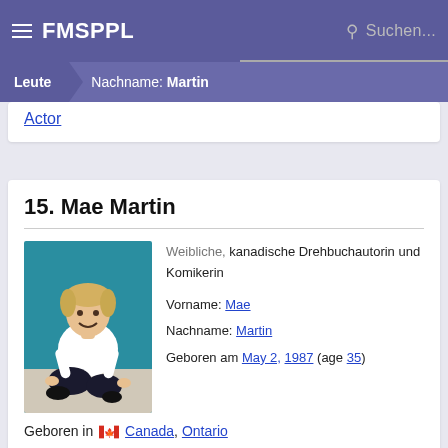FMSPPL  Suchen...
Leute > Nachname: Martin
Actor
15. Mae Martin
Weibliche, kanadische Drehbuchautorin und Komikerin
Vorname: Mae
Nachname: Martin
Geboren am May 2, 1987 (age 35)
[Figure (photo): Photo of Mae Martin, a person with short blonde hair wearing a white t-shirt, sitting cross-legged against a blue background]
Geboren in 🇨🇦 Canada, Ontario
Actor
SEARCH TAGS